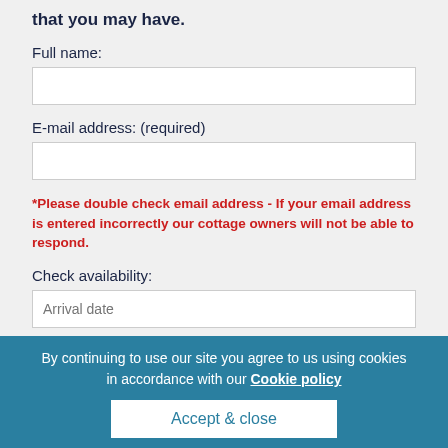that you may have.
Full name:
[Figure (other): Empty text input field for full name]
E-mail address: (required)
[Figure (other): Empty text input field for email address]
*Please double check email address - If your email address is entered incorrectly our cottage owners will not be able to respond.
Check availability:
[Figure (other): Text input field with placeholder 'Arrival date']
[Figure (other): Text input field with placeholder 'Departure date']
By continuing to use our site you agree to us using cookies in accordance with our Cookie policy
Accept & close